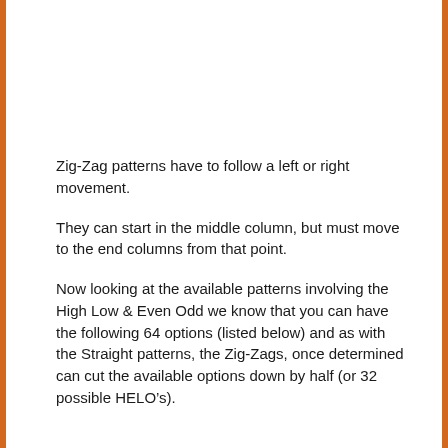Zig-Zag patterns have to follow a left or right movement.
They can start in the middle column, but must move to the end columns from that point.
Now looking at the available patterns involving the High Low & Even Odd we know that you can have the following 64 options (listed below) and as with the Straight patterns, the Zig-Zags, once determined can cut the available options down by half (or 32 possible HELO’s).